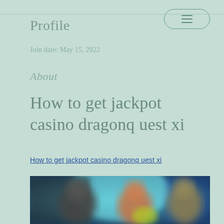Profile
Join date: May 15, 2022
About
How to get jackpot casino dragonq uest xi
How to get jackpot casino dragonq uest xi
[Figure (photo): Blurred screenshot of a casino or video game scene with colorful characters and a teal/blue background]